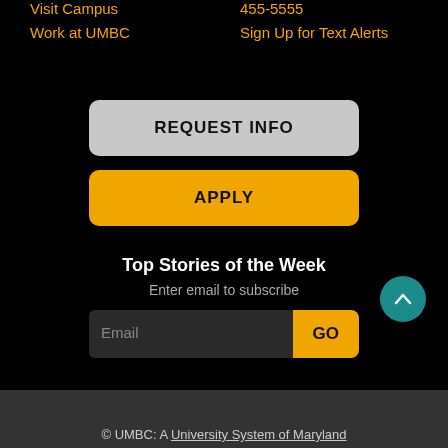Visit Campus
Work at UMBC
455-5555
Sign Up for Text Alerts
REQUEST INFO
APPLY
Top Stories of the Week
Enter email to subscribe
Email
GO
© UMBC: A University System of Maryland